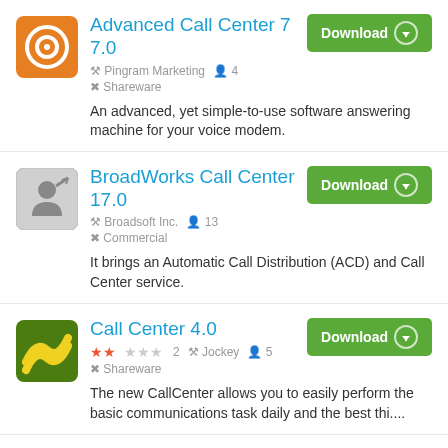[Figure (logo): Orange rounded square icon with a white target/circle symbol for Advanced Call Center 7]
Advanced Call Center 7 7.0
Pingram Marketing  4  Shareware
An advanced, yet simple-to-use software answering machine for your voice modem.
[Figure (logo): Gray rounded square icon with a person raising hand symbol for BroadWorks Call Center]
BroadWorks Call Center 17.0
Broadsoft Inc.  13  Commercial
It brings an Automatic Call Distribution (ACD) and Call Center service.
[Figure (logo): Green rounded square icon with yellow wave/zigzag symbol for Call Center 4.0]
Call Center 4.0
★★☆☆☆ 2  Jockey  5  Shareware
The new CallCenter allows you to easily perform the basic communications task daily and the best thi....